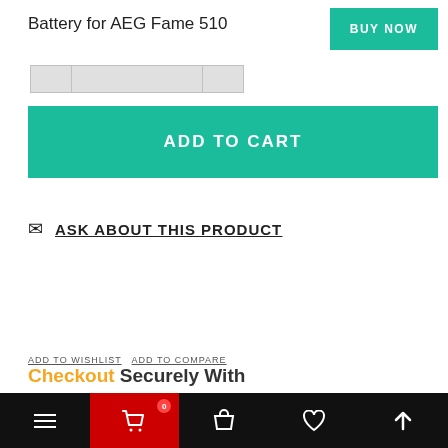Battery for AEG Fame 510
BUY NOW
ADD TO CART
ASK ABOUT THIS PRODUCT
Checkout Securely With
ADD TO WISHLIST  ADD TO COMPARE
[Figure (infographic): Payment method logos: Visa, Mastercard, American Express, PayPal, Google Pay, OPay]
[Figure (infographic): Social share buttons: Facebook, Twitter, Pinterest, LinkedIn, Favorites (star), More (+)]
[Figure (infographic): Bottom mobile navigation bar with hamburger menu, cart (red background, badge 0), basket, heart, and up arrow icons]